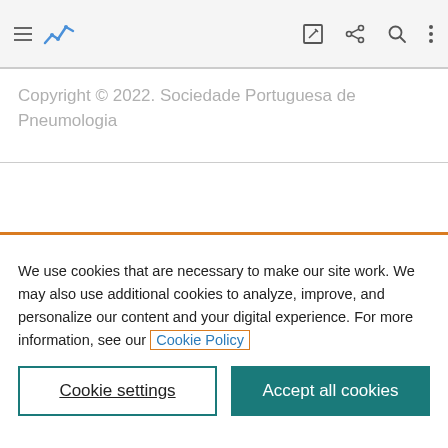[Figure (screenshot): Top navigation bar with hamburger menu, blue analytics logo, edit icon, share icon, search icon, and vertical dots menu]
Copyright © 2022. Sociedade Portuguesa de Pneumologia
We use cookies that are necessary to make our site work. We may also use additional cookies to analyze, improve, and personalize our content and your digital experience. For more information, see our Cookie Policy
Cookie settings
Accept all cookies